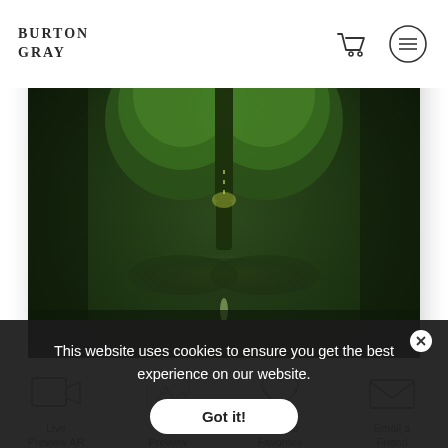BURTON GRAY
[Figure (photo): Heart-shaped mossy tree reflected in dark water, green tones, artistic digital artwork]
[Figure (infographic): Four action icons: Live Preview AR (video camera icon), Wall Preview (image frame with dashed border), Save to Favorites (heart icon), Email a Friend (envelope icon)]
BIG GREEN TREE (THIN 1:3 RATIO)
This website uses cookies to ensure you get the best experience on our website.
Got it!